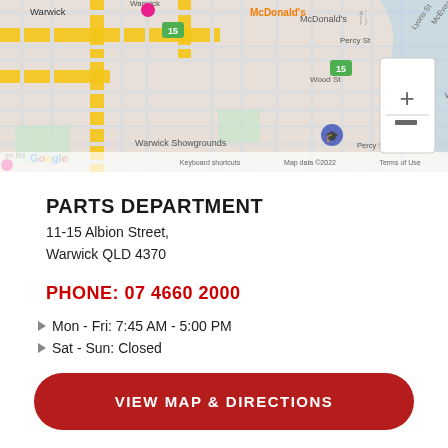[Figure (map): Google Maps view of Warwick, QLD area showing streets including Percy St, Wood St, Lyons St, McEvoy St, Grafton St, Warwick Showgrounds marker, McDonald's label, Google logo, zoom controls, and map attribution text: Keyboard shortcuts, Map data ©2022, Terms of Use]
PARTS DEPARTMENT
11-15 Albion Street,
Warwick QLD 4370
PHONE: 07 4660 2000
Mon - Fri: 7:45 AM - 5:00 PM
Sat - Sun: Closed
VIEW MAP & DIRECTIONS